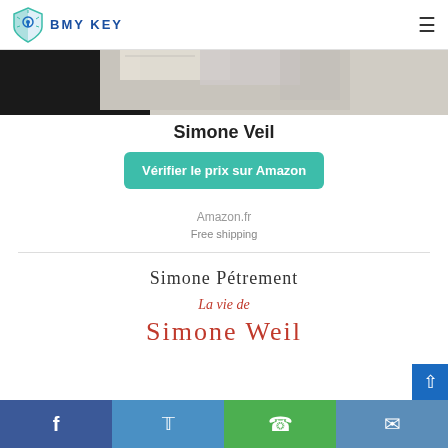BMY KEY
[Figure (photo): Book cover image of Simone Veil, showing handwritten documents and papers in black and white]
Simone Veil
Vérifier le prix sur Amazon
Amazon.fr
Free shipping
[Figure (photo): Book cover showing 'Simone Pétrement - La vie de Simone Weil' with red and dark text on white background]
f  Twitter  WhatsApp  Telegram